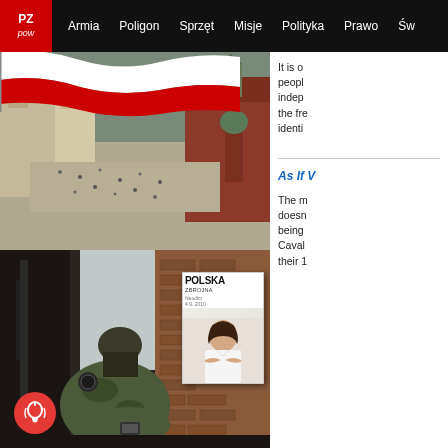PZ POW | Armia  Poligon  Sprzęt  Misje  Polityka  Prawo  Św
[Figure (photo): Aerial view of Warsaw Old Town castle square with Polish flag waving in foreground and colorful historic buildings surrounding the plaza with crowds of people below]
It is o people indep the fre identi
[Figure (photo): Soldier in camouflage gear crouching against a brick wall ruin, looking at a device, with a rifle visible; wartime/military training scenario]
[Figure (other): Polska Zbrojna magazine cover overlay showing a woman in white shirt with arms crossed]
As If V
The m doesn being Caval their 1